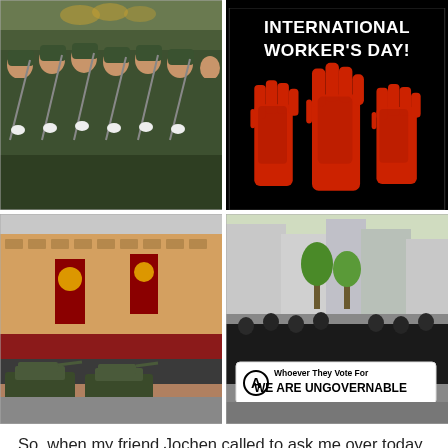[Figure (photo): Military soldiers in green uniforms marching in a parade, carrying rifles, mouths open as if chanting.]
[Figure (illustration): Black background poster with text 'INTERNATIONAL WORKER'S DAY!' at top in white bold font, and three large red raised fists below.]
[Figure (photo): Red Square military parade with tanks, red banners with Soviet symbols on a large yellow-orange building facade.]
[Figure (photo): Street protest march with crowd dressed in black holding a banner reading 'Whoever They Vote For WE ARE UNGOVERNABLE' with an anarchist circle-A symbol.]
So, when my friend Jochen called to ask me over today for some work on our hunting installations, I was taken by surprise. It was supposed to be procedure as every day –